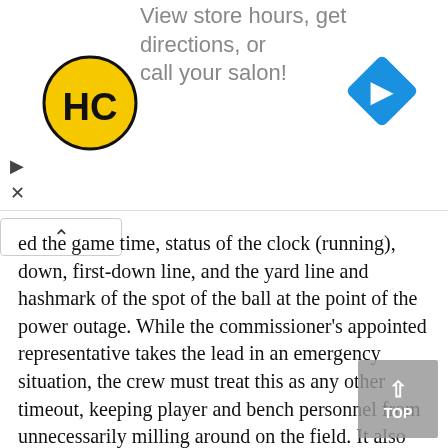[Figure (other): Advertisement banner with HC logo (black and yellow circular logo with HC letters), navigation arrow icon (blue diamond with white right arrow), and partial text 'View store hours, get directions, or call your salon!']
ed the game time, status of the clock (running), down, first-down line, and the yard line and hashmark of the spot of the ball at the point of the power outage. While the commissioner's appointed representative takes the lead in an emergency situation, the crew must treat this as any other timeout, keeping player and bench personnel from unnecessarily milling around on the field. It also meant that player warmups were to be confined generally to the sideline, while the officials had to make sure they stayed limber.

Upon getting the go-ahead, teams were given approximately 15 minutes to get ready, after w Roger announced, "We're now ready to resume action